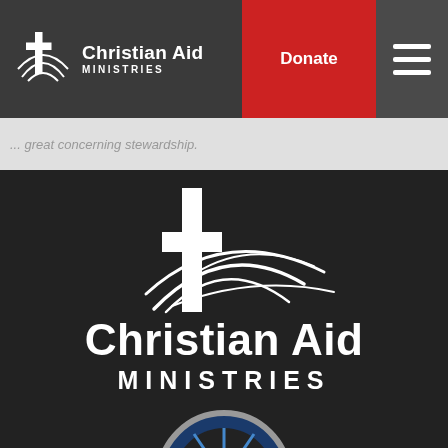[Figure (logo): Christian Aid Ministries navigation bar logo with cross and globe icon, white text on dark gray background, with red Donate button and hamburger menu]
... great concerning stewardship.
[Figure (logo): Large Christian Aid Ministries logo on dark background: white cross with globe arc lines, large text 'Christian Aid' then 'MINISTRIES' then 'SINCE 1981']
[Figure (other): Partial circular emblem visible at bottom of page, dark background]